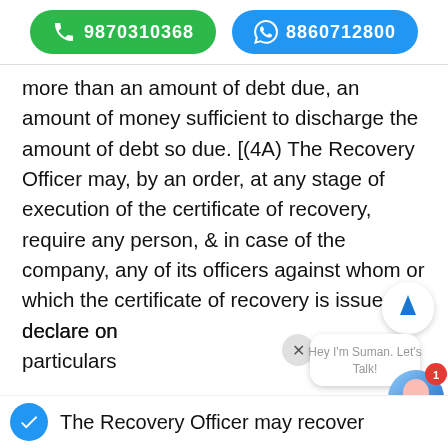[Figure (other): Green phone button showing 9870310368 and blue WhatsApp button showing 8860712800]
more than an amount of debt due, an amount of money sufficient to discharge the amount of debt so due. [(4A) The Recovery Officer may, by an order, at any stage of execution of the certificate of recovery, require any person, & in case of the company, any of its officers against whom or which the certificate of recovery is issued, to declare on oath, the particulars
The Recovery Officer may recover